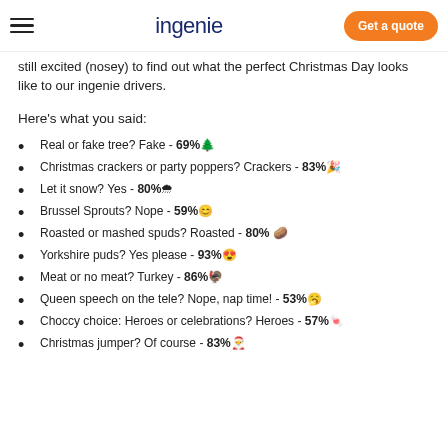ingenie | Get a quote
still excited (nosey) to find out what the perfect Christmas Day looks like to our ingenie drivers.
Here's what you said:
Real or fake tree? Fake - 69% 🌲
Christmas crackers or party poppers? Crackers - 83% 🎉
Let it snow? Yes - 80% 🌨
Brussel Sprouts? Nope - 59% 😊
Roasted or mashed spuds? Roasted - 80% 🥔
Yorkshire puds? Yes please - 93% 😍
Meat or no meat? Turkey - 86% 🦃
Queen speech on the tele? Nope, nap time! - 53% 🥱
Choccy choice: Heroes or celebrations? Heroes - 57% 🍬
Christmas jumper? Of course - 83% 🎅